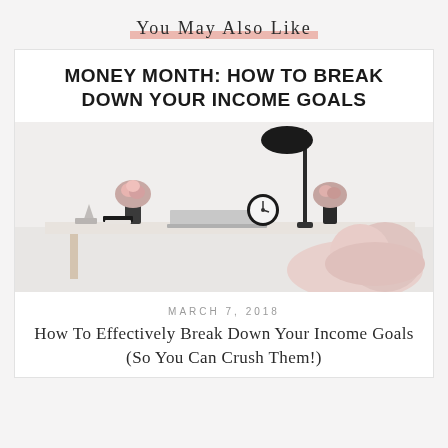You May Also Like
MONEY MONTH: HOW TO BREAK DOWN YOUR INCOME GOALS
[Figure (photo): Styled desk flatlay with black lamp, flowers in vase, alarm clock, laptop, geometric decorations, and a pink fluffy throw on a chair]
MARCH 7, 2018
How To Effectively Break Down Your Income Goals (So You Can Crush Them!)